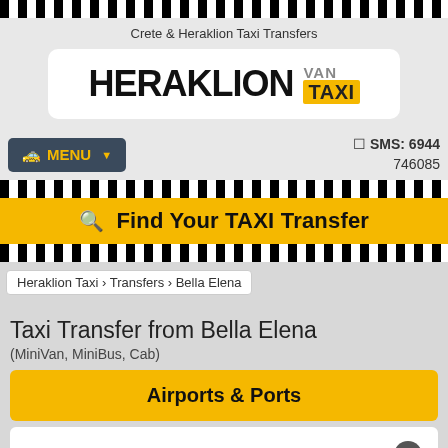Crete & Heraklion Taxi Transfers
[Figure (logo): Heraklion VAN TAXI logo — HERAKLION in bold black, VAN in grey, TAXI in yellow box on white rounded background]
MENU ▼
SMS: 6944 746085
🔍 Find Your TAXI Transfer
Heraklion Taxi › Transfers › Bella Elena
Taxi Transfer from Bella Elena
(MiniVan, MiniBus, Cab)
Airports & Ports
✈ Heraklion Airport [HER]
📍 Bella Elena